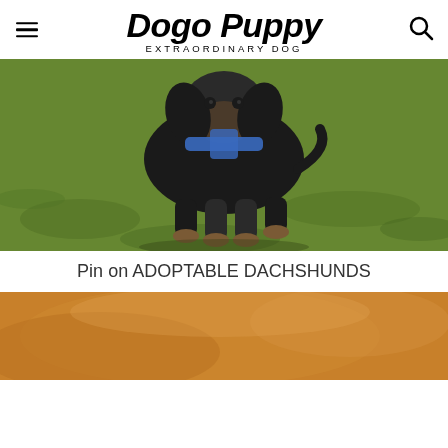Dogo Puppy EXTRAORDINARY DOG
[Figure (photo): A dachshund dog wearing a black outfit/coat and blue harness, standing on grass outdoors]
Pin on ADOPTABLE DACHSHUNDS
[Figure (photo): Partial view of a brown/tan dog, cropped at bottom of page]